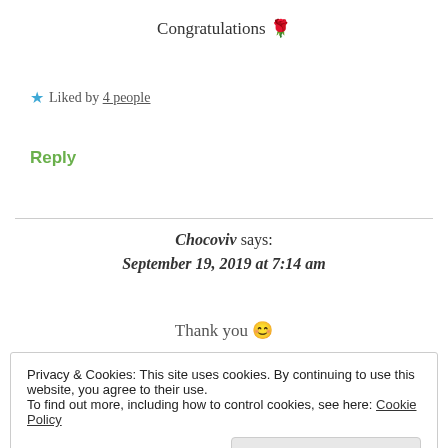Congratulations 🌹
★ Liked by 4 people
Reply
Chocoviv says: September 19, 2019 at 7:14 am
Thank you 😊
Privacy & Cookies: This site uses cookies. By continuing to use this website, you agree to their use.
To find out more, including how to control cookies, see here: Cookie Policy